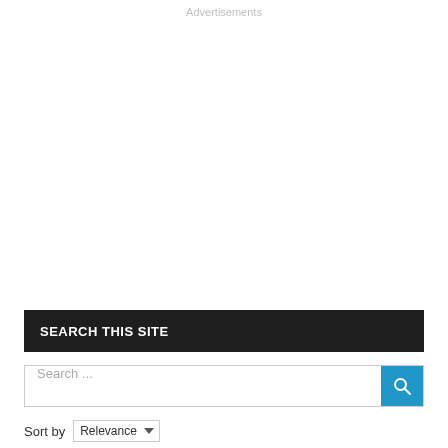Advertisements
SEARCH THIS SITE
Search ...
Sort by Relevance